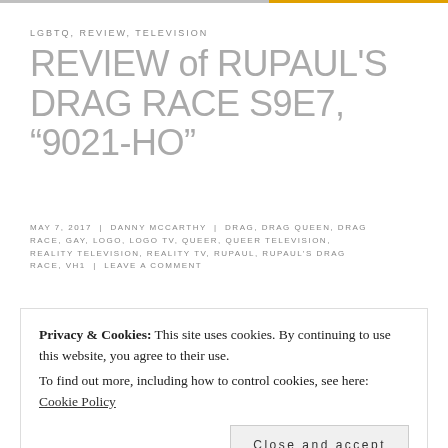LGBTQ, REVIEW, TELEVISION
REVIEW of RUPAUL'S DRAG RACE S9E7, “9021-HO”
MAY 7, 2017 | DANNY MCCARTHY | DRAG, DRAG QUEEN, DRAG RACE, GAY, LOGO, LOGO TV, QUEER, QUEER TELEVISION, REALITY TELEVISION, REALITY TV, RUPAUL, RUPAUL’S DRAG RACE, VH1 | LEAVE A COMMENT
“No wonder I’m
Privacy & Cookies: This site uses cookies. By continuing to use this website, you agree to their use. To find out more, including how to control cookies, see here: Cookie Policy
Close and accept